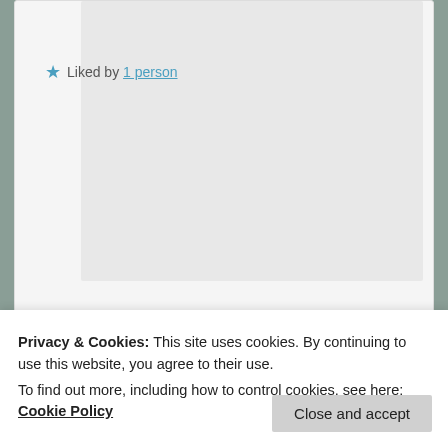★ Liked by 1 person
Reply ↓
[Figure (photo): Profile photo of an elderly man wearing a light-colored bucket hat, outdoors with a light blue background]
stock market is different...
Privacy & Cookies: This site uses cookies. By continuing to use this website, you agree to their use.
To find out more, including how to control cookies, see here: Cookie Policy
Close and accept